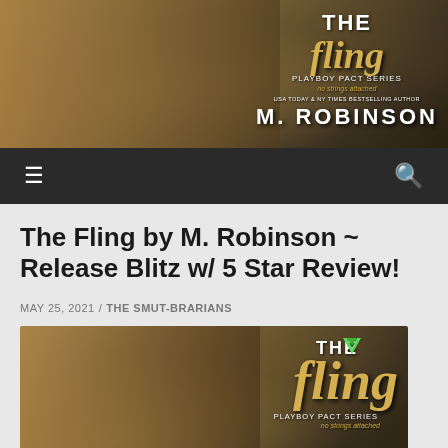[Figure (photo): Book cover banner image for 'The Fling' by M. Robinson, Playboy Pact Series. Shows a couple in an outdoor field setting with golden/autumn colors. Title text overlaid in gold and white.]
[Figure (screenshot): Navigation bar with hamburger menu icon on left and search icon on right, dark background.]
The Fling by M. Robinson ~ Release Blitz w/ 5 Star Review!
MAY 25, 2021 / THE SMUT-BRARIANS
[Figure (photo): Book cover for 'The Fling' by M. Robinson, Playboy Pact Series. Couple almost kissing in an autumn field. Gold script title 'The Fling' with 'THE' in white block letters above. Green logo/bird icon. 'PLAYBOY PACT SERIES' text. 'No Strings Attached' subtitle. 'USA Today & NY Times Bestselling Author' and 'M. ROBINSON' at bottom in large white letters.]